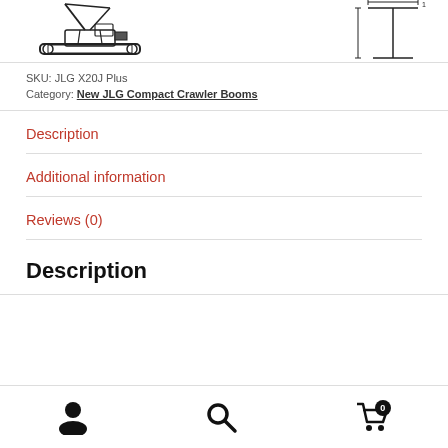[Figure (engineering-diagram): Top portion showing two engineering diagrams of JLG X20J Plus crawler boom: left shows a perspective/front view of the machine, right shows a side elevation/dimension drawing]
SKU: JLG X20J Plus
Category: New JLG Compact Crawler Booms
Description
Additional information
Reviews (0)
Description
User icon | Search icon | Cart icon with 0 badge